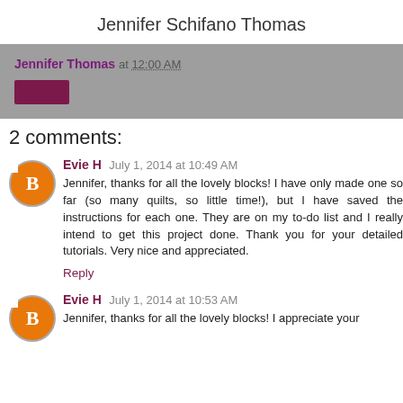Jennifer Schifano Thomas
Jennifer Thomas at 12:00 AM
2 comments:
Evie H July 1, 2014 at 10:49 AM
Jennifer, thanks for all the lovely blocks! I have only made one so far (so many quilts, so little time!), but I have saved the instructions for each one. They are on my to-do list and I really intend to get this project done. Thank you for your detailed tutorials. Very nice and appreciated.
Reply
Evie H July 1, 2014 at 10:53 AM
Jennifer, thanks for all the lovely blocks! I appreciate your